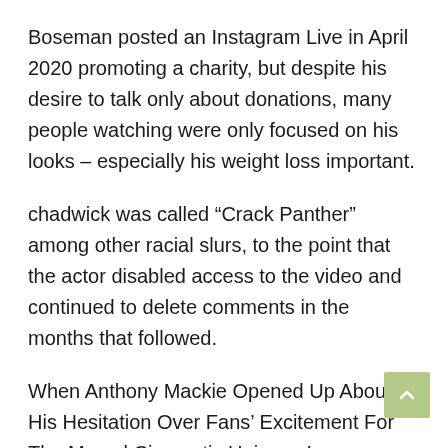Boseman posted an Instagram Live in April 2020 promoting a charity, but despite his desire to talk only about donations, many people watching were only focused on his looks – especially his weight loss important.
chadwick was called “Crack Panther” among other racial slurs, to the point that the actor disabled access to the video and continued to delete comments in the months that followed.
When Anthony Mackie Opened Up About His Hesitation Over Fans’ Excitement For The Marvel Cinematic Universe’s “SamBucky” Ship in a Variety interviewhe fell under intense backlash fans.